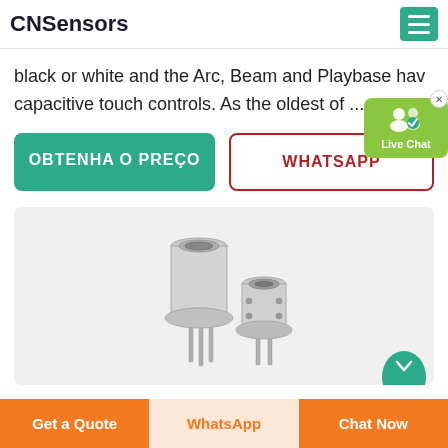CNSensors
black or white and the Arc, Beam and Playbase have capacitive touch controls. As the oldest of ...
OBTENHA O PREÇO
WHATSAPP
[Figure (photo): Two metallic TO-type sensor components (likely PIR or IR sensors) shown side by side on a light gray background. Left sensor is taller with three pins; right sensor is shorter with two pins.]
Get a Quote
WhatsApp
Chat Now